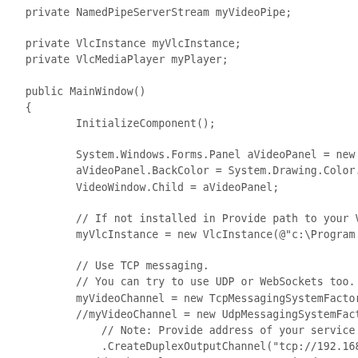private NamedPipeServerStream myVideoPipe;

private VlcInstance myVlcInstance;
private VlcMediaPlayer myPlayer;

public MainWindow()
{
    InitializeComponent();

    System.Windows.Forms.Panel aVideoPanel = new
    aVideoPanel.BackColor = System.Drawing.Color.
    VideoWindow.Child = aVideoPanel;

    // If not installed in Provide path to your V
    myVlcInstance = new VlcInstance(@"c:\Program

    // Use TCP messaging.
    // You can try to use UDP or WebSockets too.
    myVideoChannel = new TcpMessagingSystemFactor
    //myVideoChannel = new UdpMessagingSystemFact
        // Note: Provide address of your service
        .CreateDuplexOutputChannel("tcp://192.168
    myVideoChannel.ResponseMessageReceived += OnR
}

private void Window_Closed(object sender, EventAr
{